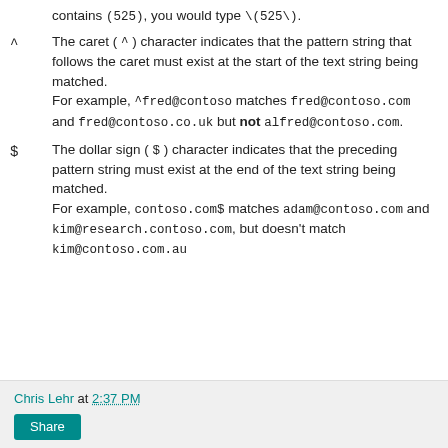contains (525), you would type \(525\).
^ — The caret ( ^ ) character indicates that the pattern string that follows the caret must exist at the start of the text string being matched. For example, ^fred@contoso matches fred@contoso.com and fred@contoso.co.uk but not alfred@contoso.com.
$ — The dollar sign ( $ ) character indicates that the preceding pattern string must exist at the end of the text string being matched. For example, contoso.com$ matches adam@contoso.com and kim@research.contoso.com, but doesn't match kim@contoso.com.au
Chris Lehr at 2:37 PM
Share